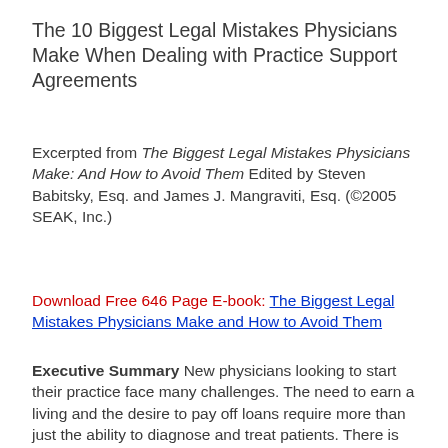The 10 Biggest Legal Mistakes Physicians Make When Dealing with Practice Support Agreements
Excerpted from The Biggest Legal Mistakes Physicians Make: And How to Avoid Them Edited by Steven Babitsky, Esq. and James J. Mangraviti, Esq. (©2005 SEAK, Inc.)
Download Free 646 Page E-book: The Biggest Legal Mistakes Physicians Make and How to Avoid Them
Executive Summary New physicians looking to start their practice face many challenges. The need to earn a living and the desire to pay off loans require more than just the ability to diagnose and treat patients. There is